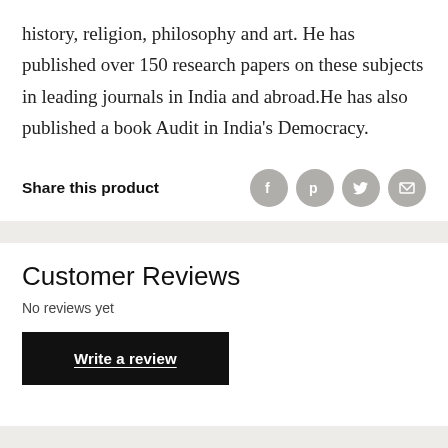history, religion, philosophy and art. He has published over 150 research papers on these subjects in leading journals in India and abroad.He has also published a book Audit in India's Democracy.
Share this product
Customer Reviews
No reviews yet
Write a review